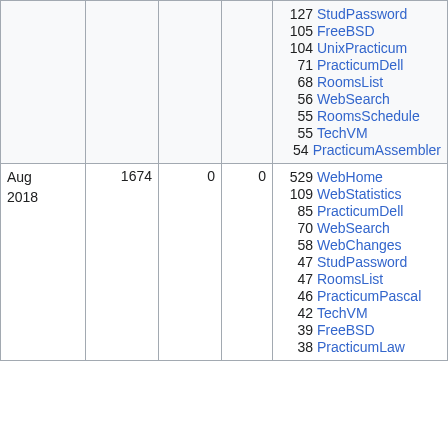| Month | Views | Col3 | Col4 | Top pages |
| --- | --- | --- | --- | --- |
|  |  |  |  | 127 StudPassword
105 FreeBSD
104 UnixPracticum
71 PracticumDell
68 RoomsList
56 WebSearch
55 RoomsSchedule
55 TechVM
54 PracticumAssembler |
| Aug 2018 | 1674 | 0 | 0 | 529 WebHome
109 WebStatistics
85 PracticumDell
70 WebSearch
58 WebChanges
47 StudPassword
47 RoomsList
46 PracticumPascal
42 TechVM
39 FreeBSD
38 PracticumLaw |